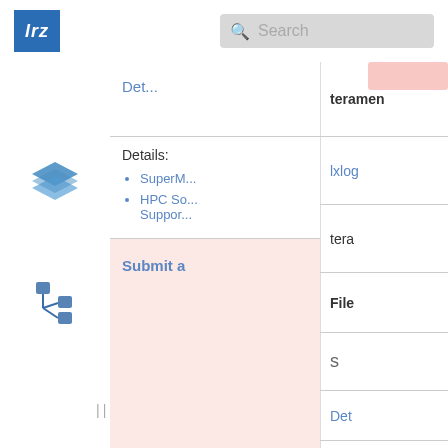[Figure (logo): LRZ logo - blue square with italic 'lrz' text in white]
[Figure (screenshot): Search bar with magnifying glass icon and placeholder text 'Search']
[Figure (illustration): Blue stacked layers icon in left sidebar]
[Figure (illustration): Blue hierarchy/tree icon in left sidebar]
Det...
Details:
SuperM...
HPC So... Suppor...
Submit a
teramen
lxlog
tera
File
s
Det
Details:
Linux C...